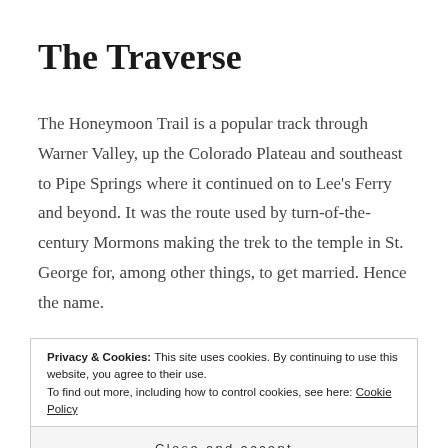The Traverse
The Honeymoon Trail is a popular track through Warner Valley, up the Colorado Plateau and southeast to Pipe Springs where it continued on to Lee’s Ferry and beyond. It was the route used by turn-of-the-century Mormons making the trek to the temple in St. George for, among other things, to get married. Hence the name.
Privacy & Cookies: This site uses cookies. By continuing to use this website, you agree to their use. To find out more, including how to control cookies, see here: Cookie Policy
Close and accept
of this trail before I engaged the climb below. And I’m